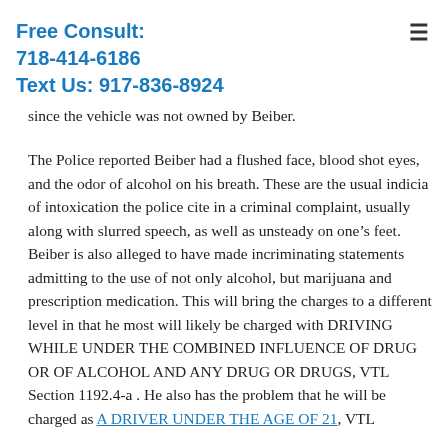Free Consult:
718-414-6186
Text Us: 917-836-8924
since the vehicle was not owned by Beiber.
The Police reported Beiber had a flushed face, blood shot eyes, and the odor of alcohol on his breath. These are the usual indicia of intoxication the police cite in a criminal complaint, usually along with slurred speech, as well as unsteady on one’s feet. Beiber is also alleged to have made incriminating statements admitting to the use of not only alcohol, but marijuana and prescription medication. This will bring the charges to a different level in that he most will likely be charged with DRIVING WHILE UNDER THE COMBINED INFLUENCE OF DRUG OR OF ALCOHOL AND ANY DRUG OR DRUGS, VTL Section 1192.4-a . He also has the problem that he will be charged as A DRIVER UNDER THE AGE OF 21, VTL